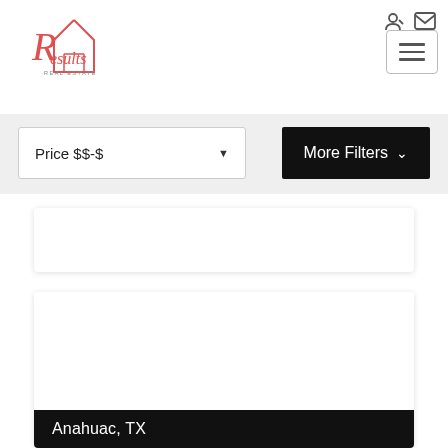[Figure (logo): Results Real Estate logo in red cursive with house icon]
[Figure (other): Navigation icons: login and email icons top right; hamburger menu button]
[Figure (other): Price filter dropdown showing 'Price $$-$' with dropdown arrow]
[Figure (other): More Filters button in black with chevron]
[Figure (other): Partial white listing card]
[Figure (other): White listing card for Anahuac, TX with black label bar at bottom]